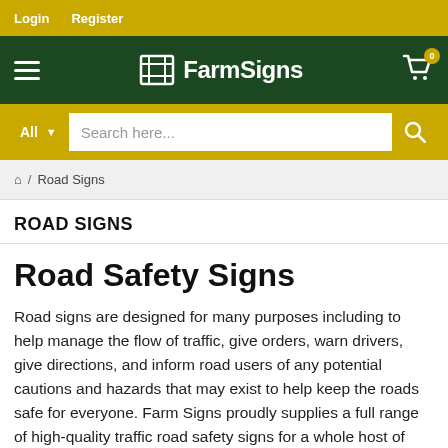Login  Register
FarmSigns
All  Search here...
🏠 / Road Signs
ROAD SIGNS
Road Safety Signs
Road signs are designed for many purposes including to help manage the flow of traffic, give orders, warn drivers, give directions, and inform road users of any potential cautions and hazards that may exist to help keep the roads safe for everyone. Farm Signs proudly supplies a full range of high-quality traffic road safety signs for a whole host of